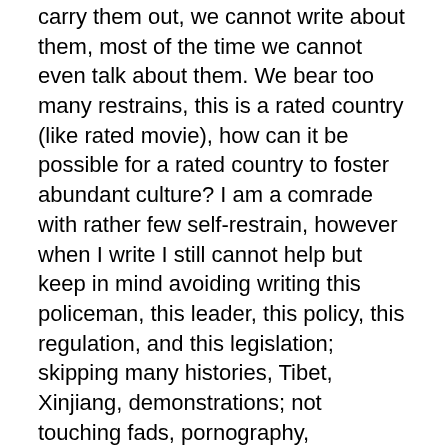carry them out, we cannot write about them, most of the time we cannot even talk about them. We bear too many restrains, this is a rated country (like rated movie), how can it be possible for a rated country to foster abundant culture? I am a comrade with rather few self-restrain, however when I write I still cannot help but keep in mind avoiding writing this policeman, this leader, this policy, this regulation, and this legislation; skipping many histories, Tibet, Xinjiang, demonstrations; not touching fads, pornography, boycotting, arts, but elegancy is what I am incapable of. I am really incapable of that field, I am not Yu Qiuyu (also writer).
The pieces I put on the net is rather free. Many screen writers I know, like Ning Caishen who writes play and some script writers for drama, they suffer a lot. I am thinking how a country with cultural environment like this can ever manage to become a cultural primacy. Unless there is only China, North Korea and Afghanistan left on the earth